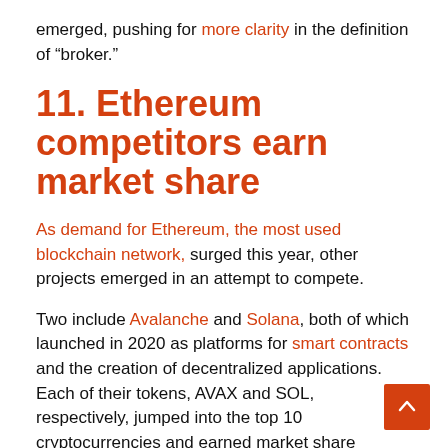emerged, pushing for more clarity in the definition of “broker.”
11. Ethereum competitors earn market share
As demand for Ethereum, the most used blockchain network, surged this year, other projects emerged in an attempt to compete.
Two include Avalanche and Solana, both of which launched in 2020 as platforms for smart contracts and the creation of decentralized applications. Each of their tokens, AVAX and SOL, respectively, jumped into the top 10 cryptocurrencies and earned market share among the rest.
As a result of competitors such as these, the total